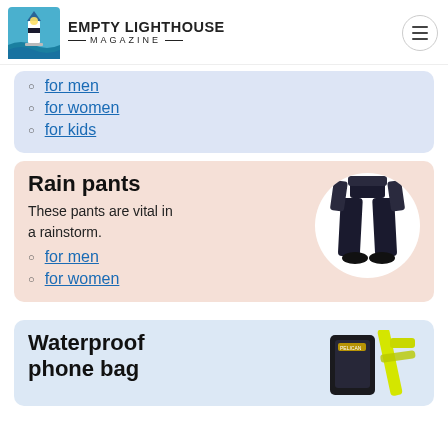EMPTY LIGHTHOUSE MAGAZINE
for men
for women
for kids
Rain pants
These pants are vital in a rainstorm.
for men
for women
[Figure (photo): Person wearing black rain pants, shown from waist down]
Waterproof phone bag
[Figure (photo): Waterproof phone bag with yellow strap]